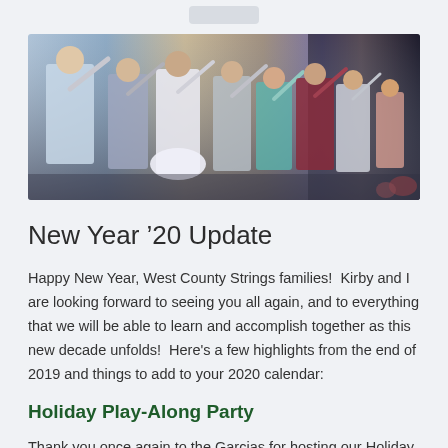[Figure (photo): Group of children and young people on a stage playing violins at a concert or recital event. Multiple performers visible in a line, wearing formal attire including dresses and dress clothes.]
New Year '20 Update
Happy New Year, West County Strings families!  Kirby and I are looking forward to seeing you all again, and to everything that we will be able to learn and accomplish together as this new decade unfolds!  Here's a few highlights from the end of 2019 and things to add to your 2020 calendar:
Holiday Play-Along Party
Thank you once again to the Garcias for hosting our Holiday